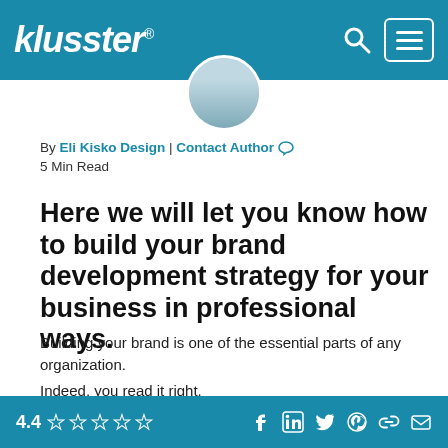klusster®
By Eli Kisko Design | Contact Author
5 Min Read
Here we will let you know how to build your brand development strategy for your business in professional ways.
Building your brand is one of the essential parts of any organization.
Indeed, you read it right.
4.4 ☆☆☆☆☆